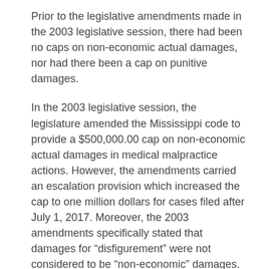Prior to the legislative amendments made in the 2003 legislative session, there had been no caps on non-economic actual damages, nor had there been a cap on punitive damages.
In the 2003 legislative session, the legislature amended the Mississippi code to provide a $500,000.00 cap on non-economic actual damages in medical malpractice actions. However, the amendments carried an escalation provision which increased the cap to one million dollars for cases filed after July 1, 2017. Moreover, the 2003 amendments specifically stated that damages for “disfigurement” were not considered to be “non-economic” damages.
The 2004 amendments removed the escalation provision, and specifically included disfigurement as a type of non-economic damage. More importantly, the 2004 amendments, for the first time, established a cap on non-economic actual damages in non-medical malpractice